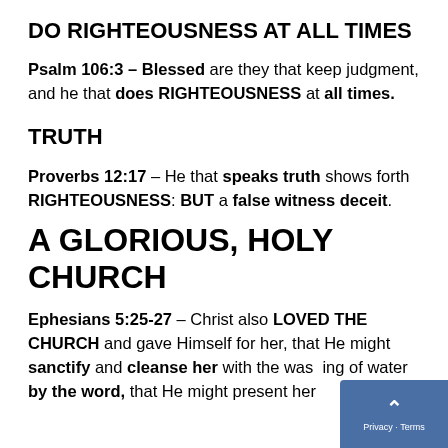DO RIGHTEOUSNESS AT ALL TIMES
Psalm 106:3 – Blessed are they that keep judgment, and he that does RIGHTEOUSNESS at all times.
TRUTH
Proverbs 12:17 – He that speaks truth shows forth RIGHTEOUSNESS: BUT a false witness deceit.
A GLORIOUS, HOLY CHURCH
Ephesians 5:25-27 – Christ also LOVED THE CHURCH and gave Himself for her, that He might sanctify and cleanse her with the washing of water by the word, that He might present her